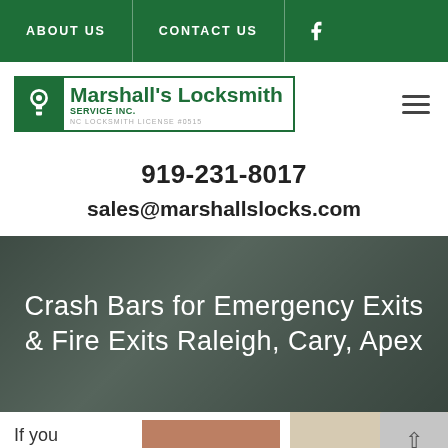ABOUT US | CONTACT US | [Facebook icon]
[Figure (logo): Marshall's Locksmith Service Inc. logo with keyhole icon, green branding, NC Locksmith License #0515]
919-231-8017
sales@marshallslocks.com
Crash Bars for Emergency Exits & Fire Exits Raleigh, Cary, Apex
If you